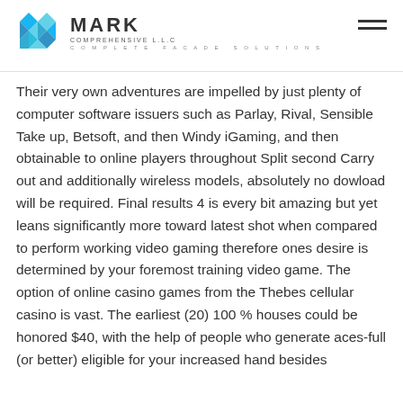MARK COMPREHENSIVE LLC – COMPLETE FACADE SOLUTIONS
Their very own adventures are impelled by just plenty of computer software issuers such as Parlay, Rival, Sensible Take up, Betsoft, and then Windy iGaming, and then obtainable to online players throughout Split second Carry out and additionally wireless models, absolutely no dowload will be required. Final results 4 is every bit amazing but yet leans significantly more toward latest shot when compared to perform working video gaming therefore ones desire is determined by your foremost training video game. The option of online casino games from the Thebes cellular casino is vast. The earliest (20) 100 % houses could be honored $40, with the help of people who generate aces-full (or better) eligible for your increased hand besides